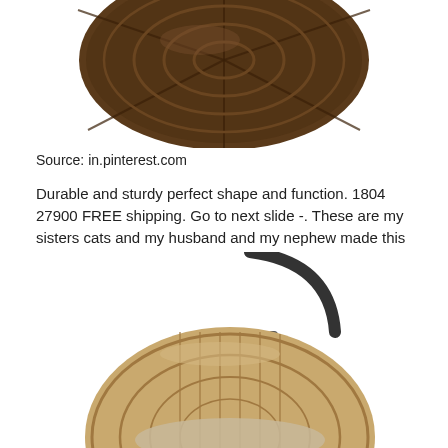[Figure (photo): Close-up top view of a dark brown wicker/rattan basket or chair seat with woven pattern]
Source: in.pinterest.com
Durable and sturdy perfect shape and function. 1804 27900 FREE shipping. Go to next slide -. These are my sisters cats and my husband and my nephew made this cat condojungle gym for them to playsleep on. Only 20 left in stock - order soon.
[Figure (photo): Hanging egg chair made of woven rope/rattan in natural tan/beige color, suspended from a dark metal arc stand via chain, with cushion inside]